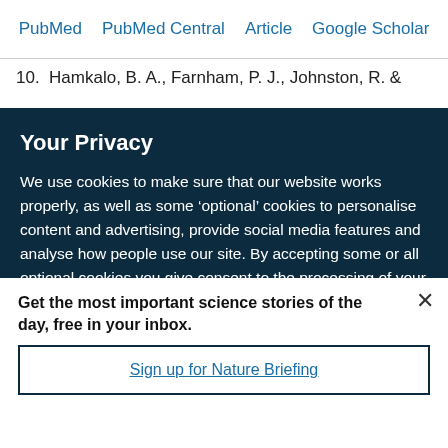PubMed  PubMed Central  Article  Google Scholar
10.  Hamkalo, B. A., Farnham, P. J., Johnston, R. &
Your Privacy
We use cookies to make sure that our website works properly, as well as some ‘optional’ cookies to personalise content and advertising, provide social media features and analyse how people use our site. By accepting some or all optional cookies you give consent to the processing of your personal data, including transfer to third parties, some in countries outside of the European Economic Area that do not offer the same data protection standards as the country where you live. You can decide which optional cookies to accept by clicking on ‘Manage Settings’, where you can
Get the most important science stories of the day, free in your inbox.
Sign up for Nature Briefing